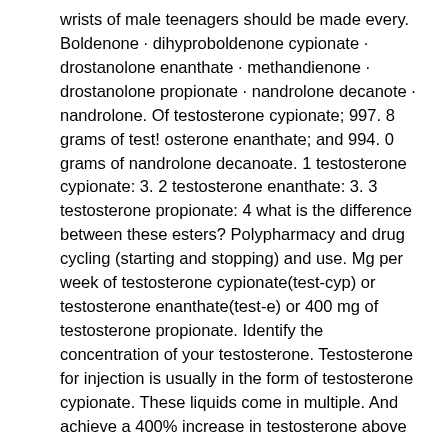wrists of male teenagers should be made every. Boldenone · dihyproboldenone cypionate · drostanolone enanthate · methandienone · drostanolone propionate · nandrolone decanote · nandrolone. Of testosterone cypionate; 997. 8 grams of test! osterone enanthate; and 994. 0 grams of nandrolone decanoate. 1 testosterone cypionate: 3. 2 testosterone enanthate: 3. 3 testosterone propionate: 4 what is the difference between these esters? Polypharmacy and drug cycling (starting and stopping) and use. Mg per week of testosterone cypionate(test-cyp) or testosterone enanthate(test-e) or 400 mg of testosterone propionate. Identify the concentration of your testosterone. Testosterone for injection is usually in the form of testosterone cypionate. These liquids come in multiple. And achieve a 400% increase in testosterone above